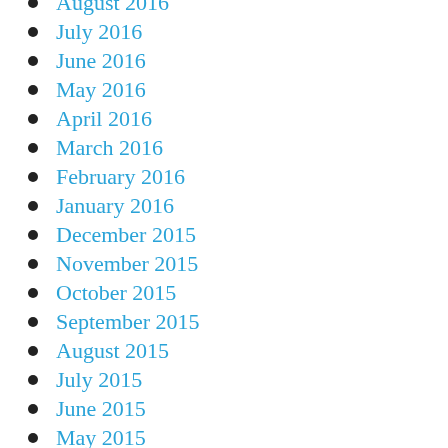August 2016
July 2016
June 2016
May 2016
April 2016
March 2016
February 2016
January 2016
December 2015
November 2015
October 2015
September 2015
August 2015
July 2015
June 2015
May 2015
March 2015